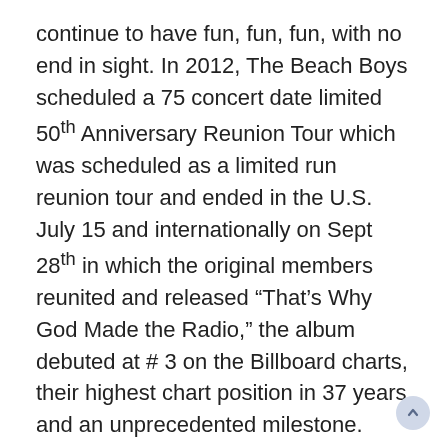continue to have fun, fun, fun, with no end in sight. In 2012, The Beach Boys scheduled a 75 concert date limited 50th Anniversary Reunion Tour which was scheduled as a limited run reunion tour and ended in the U.S. July 15 and internationally on Sept 28th in which the original members reunited and released “That’s Why God Made the Radio,” the album debuted at # 3 on the Billboard charts, their highest chart position in 37 years and an unprecedented milestone.
The Beach Boys are led by Mike Love and Bruce Johnston, who along with Christian Love, Randell Kirsch, Tim Bonhomme, John Cowsill and Scott Totten continue the legacy of the